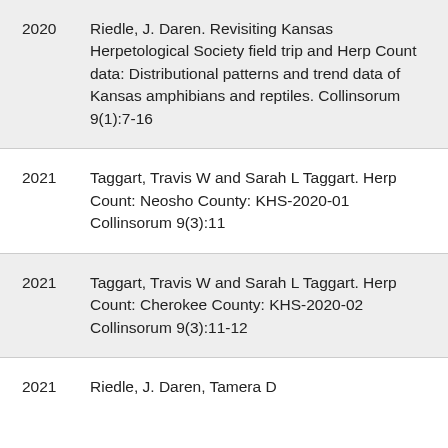2020  Riedle, J. Daren. Revisiting Kansas Herpetological Society field trip and Herp Count data: Distributional patterns and trend data of Kansas amphibians and reptiles. Collinsorum 9(1):7-16
2021  Taggart, Travis W and Sarah L Taggart. Herp Count: Neosho County: KHS-2020-01 Collinsorum 9(3):11
2021  Taggart, Travis W and Sarah L Taggart. Herp Count: Cherokee County: KHS-2020-02 Collinsorum 9(3):11-12
2021  Riedle, J. Daren, Tamera D